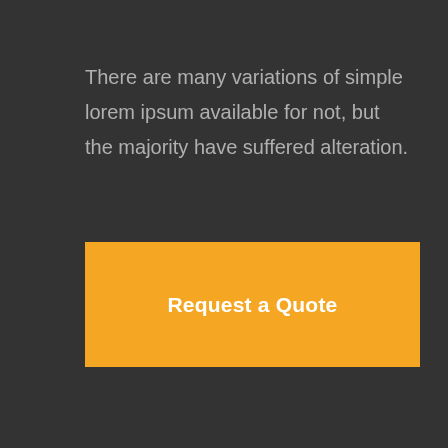There are many variations of simple lorem ipsum available for not, but the majority have suffered alteration.
Request a Quote
Links
About Us
Meet Our Team